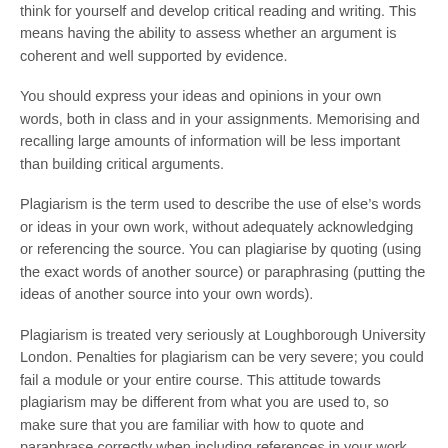think for yourself and develop critical reading and writing. This means having the ability to assess whether an argument is coherent and well supported by evidence.
You should express your ideas and opinions in your own words, both in class and in your assignments. Memorising and recalling large amounts of information will be less important than building critical arguments.
Plagiarism is the term used to describe the use of else’s words or ideas in your own work, without adequately acknowledging or referencing the source. You can plagiarise by quoting (using the exact words of another source) or paraphrasing (putting the ideas of another source into your own words).
Plagiarism is treated very seriously at Loughborough University London. Penalties for plagiarism can be very severe; you could fail a module or your entire course. This attitude towards plagiarism may be different from what you are used to, so make sure that you are familiar with how to quote and paraphrase correctly when including references in your work.